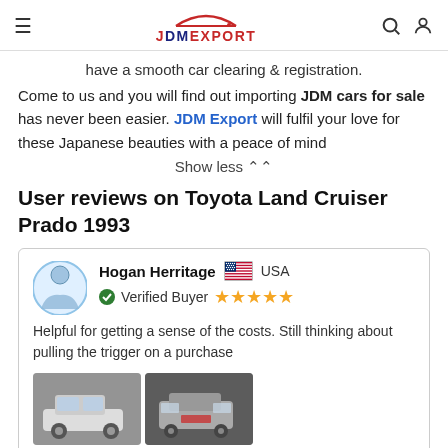JDM EXPORT
have a smooth car clearing & registration.
Come to us and you will find out importing JDM cars for sale has never been easier. JDM Export will fulfil your love for these Japanese beauties with a peace of mind
Show less
User reviews on Toyota Land Cruiser Prado 1993
Hogan Herritage USA Verified Buyer ★★★★★
Helpful for getting a sense of the costs. Still thinking about pulling the trigger on a purchase
[Figure (photo): Two photos of Toyota Land Cruiser Prado 1993 - white SUV from front and rear angle]